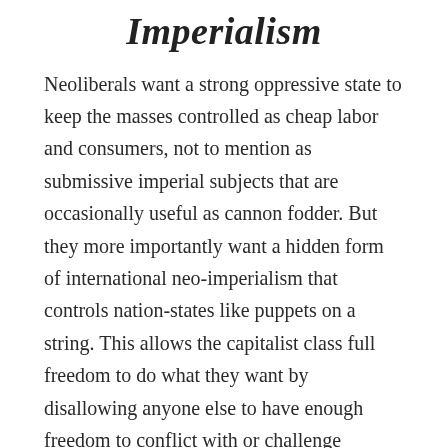Imperialism
Neoliberals want a strong oppressive state to keep the masses controlled as cheap labor and consumers, not to mention as submissive imperial subjects that are occasionally useful as cannon fodder. But they more importantly want a hidden form of international neo-imperialism that controls nation-states like puppets on a string. This allows the capitalist class full freedom to do what they want by disallowing anyone else to have enough freedom to conflict with or challenge